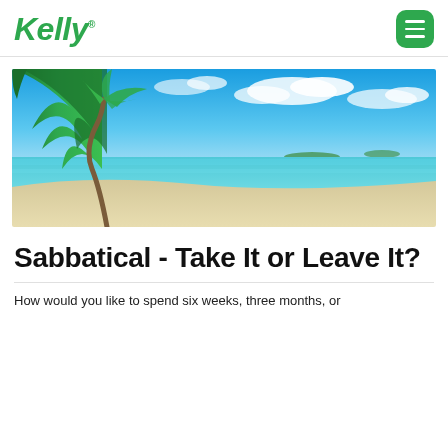Kelly
[Figure (photo): Tropical beach scene with palm trees leaning over white sand, clear turquoise water, and a bright blue sky with white clouds]
Sabbatical - Take It or Leave It?
How would you like to spend six weeks, three months, or